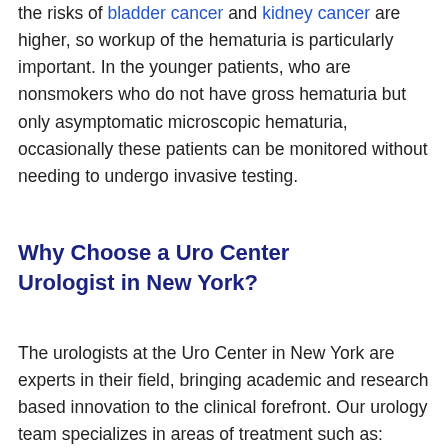the risks of bladder cancer and kidney cancer are higher, so workup of the hematuria is particularly important. In the younger patients, who are nonsmokers who do not have gross hematuria but only asymptomatic microscopic hematuria, occasionally these patients can be monitored without needing to undergo invasive testing.
Why Choose a Uro Center Urologist in New York?
The urologists at the Uro Center in New York are experts in their field, bringing academic and research based innovation to the clinical forefront. Our urology team specializes in areas of treatment such as: robotic surgery, reconstructive urology, men's health & infertility, kidney stones...